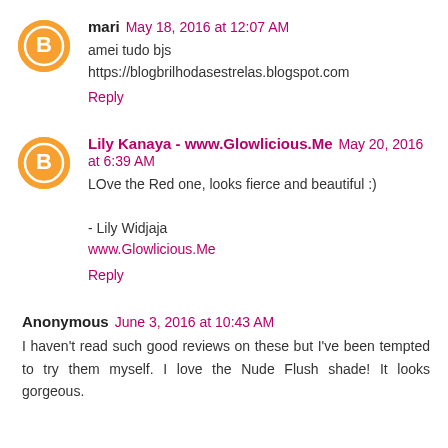mari May 18, 2016 at 12:07 AM
amei tudo bjs
https://blogbrilhodasestrelas.blogspot.com
Reply
Lily Kanaya - www.Glowlicious.Me May 20, 2016 at 6:39 AM
LOve the Red one, looks fierce and beautiful :)
- Lily Widjaja
www.Glowlicious.Me
Reply
Anonymous June 3, 2016 at 10:43 AM
I haven't read such good reviews on these but I've been tempted to try them myself. I love the Nude Flush shade! It looks gorgeous.